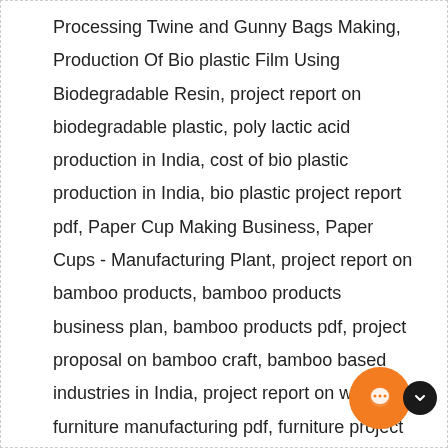Processing Twine and Gunny Bags Making, Production Of Bio plastic Film Using Biodegradable Resin, project report on biodegradable plastic, poly lactic acid production in India, cost of bio plastic production in India, bio plastic project report pdf, Paper Cup Making Business, Paper Cups - Manufacturing Plant, project report on bamboo products, bamboo products business plan, bamboo products pdf, project proposal on bamboo craft, bamboo based industries in India, project report on wooden furniture manufacturing pdf, furniture project report pdf, Project Profile on Manufacturing of Palm Plate, banana leaf plates project report, banana leaf plate making process, dried banana leaf plates, banana leaf plates for sale, banana leaf plates manufacturers India, banana plate making machine price, natural banana leaf plates, PET Bottle Recycling Manufacturing Plant, PET Bottle Recycling Bottle Manufacturing Plant Project Report, pet bottle manufacturing project report India, pet bottle manufacturing project report pdf, pet